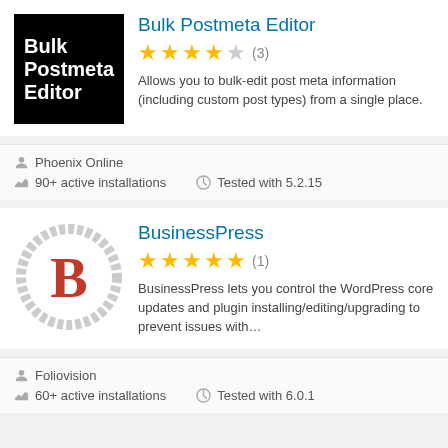[Figure (logo): Bulk Postmeta Editor plugin icon: black square with white bold text]
Bulk Postmeta Editor
[Figure (other): 3.5 star rating (3 reviews)]
Allows you to bulk-edit post meta information (including custom post types) from a single place.
Phoenix Online
90+ active installations
Tested with 5.2.15
[Figure (logo): BusinessPress plugin icon: grey gear circle with red letter B]
BusinessPress
[Figure (other): 5 star rating (1 review)]
BusinessPress lets you control the WordPress core updates and plugin installing/editing/upgrading to prevent issues with…
Foliovision
60+ active installations
Tested with 6.0.1